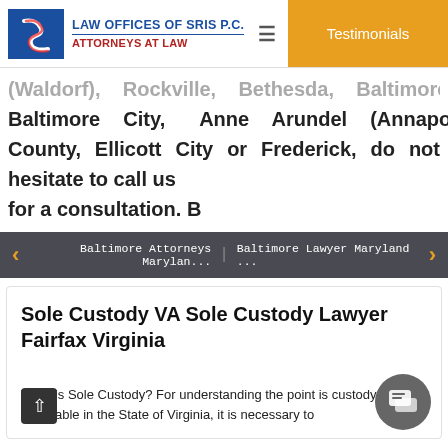LAW OFFICES OF SRIS P.C. ATTORNEYS AT LAW | Testimonials
(Waldorf), Rockville, Bethesda, Baltimore County, Baltimore City, Anne Arundel (Annapolis), Howard County, Ellicott City or Frederick, do not hesitate to call us for a consultation. B
Baltimore Attorneys Marylan... | Baltimore Lawyer Maryland ...
Sole Custody VA Sole Custody Lawyer Fairfax Virginia
What is Sole Custody? For understanding the point is custody applicable in the State of Virginia, it is necessary to